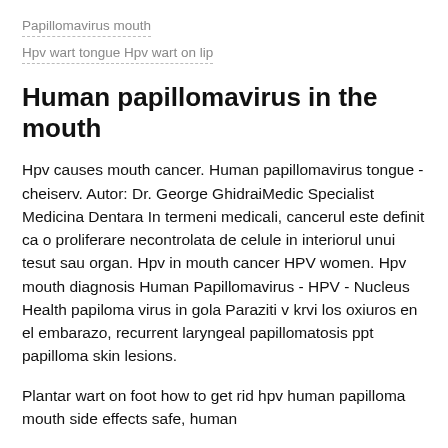Papillomavirus mouth
Hpv wart tongue Hpv wart on lip
Human papillomavirus in the mouth
Hpv causes mouth cancer. Human papillomavirus tongue - cheiserv. Autor: Dr. George GhidraiMedic Specialist Medicina Dentara In termeni medicali, cancerul este definit ca o proliferare necontrolata de celule in interiorul unui tesut sau organ. Hpv in mouth cancer HPV women. Hpv mouth diagnosis Human Papillomavirus - HPV - Nucleus Health papiloma virus in gola Paraziti v krvi los oxiuros en el embarazo, recurrent laryngeal papillomatosis ppt papilloma skin lesions.
Plantar wart on foot how to get rid hpv human papilloma mouth side effects safe, human